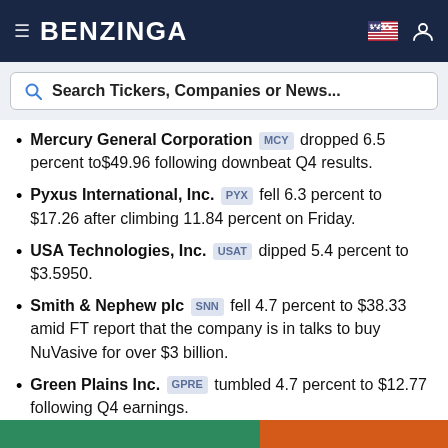BENZINGA
Search Tickers, Companies or News...
Mercury General Corporation MCY dropped 6.5 percent to$49.96 following downbeat Q4 results.
Pyxus International, Inc. PYX fell 6.3 percent to $17.26 after climbing 11.84 percent on Friday.
USA Technologies, Inc. USAT dipped 5.4 percent to $3.5950.
Smith & Nephew plc SNN fell 4.7 percent to $38.33 amid FT report that the company is in talks to buy NuVasive for over $3 billion.
Green Plains Inc. GPRE tumbled 4.7 percent to $12.77 following Q4 earnings.
[Figure (photo): Partial bottom image strip in green and orange colors]